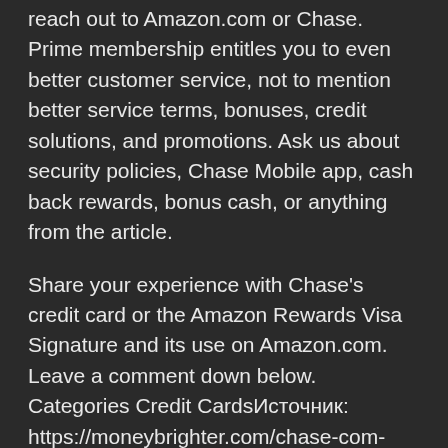reach out to Amazon.com or Chase. Prime membership entitles you to even better customer service, not to mention better service terms, bonuses, credit solutions, and promotions. Ask us about security policies, Chase Mobile app, cash back rewards, bonus cash, or anything from the article.
Share your experience with Chase's credit card or the Amazon Rewards Visa Signature and its use on Amazon.com. Leave a comment down below. Categories Credit CardsИсточник: https://moneybrighter.com/chase-com-amazon/
Chase Amazon.com